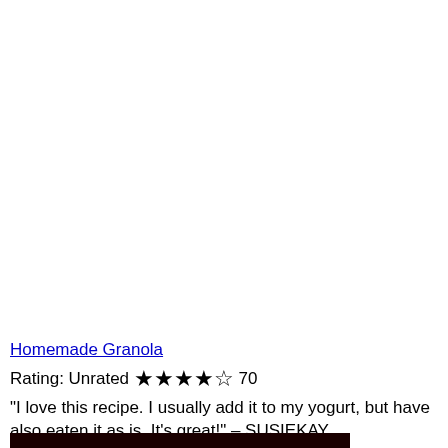Homemade Granola
Rating: Unrated ★★★★☆ 70
"I love this recipe. I usually add it to my yogurt, but have also eaten it as is. It's great!" – SUSIEKAY
[Figure (photo): Bottom strip of a food photo showing dark reddish-brown granola]